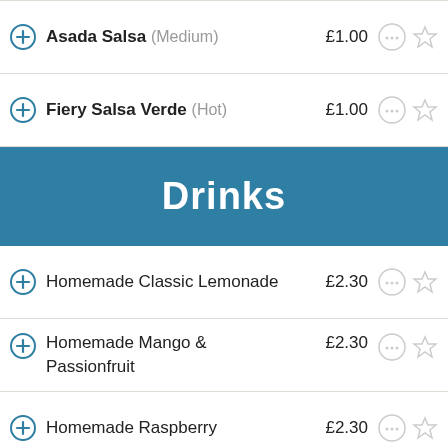Asada Salsa (Medium) £1.00
Fiery Salsa Verde (Hot) £1.00
Drinks
Homemade Classic Lemonade £2.30
Homemade Mango & Passionfruit £2.30
Homemade Raspberry £2.30
Coca-Cola Can £2.35
Diet Coke Can £2.15
Coke Zero £2.15
Jarritos Lime £3.95